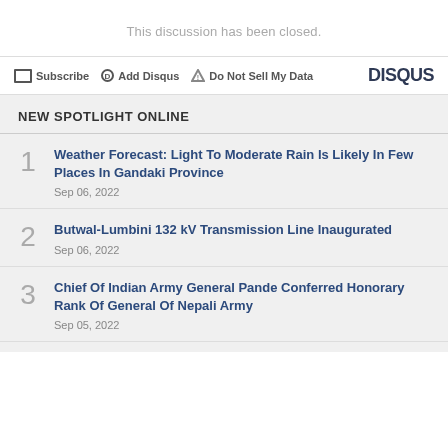This discussion has been closed.
Subscribe  Add Disqus  Do Not Sell My Data  DISQUS
NEW SPOTLIGHT ONLINE
Weather Forecast: Light To Moderate Rain Is Likely In Few Places In Gandaki Province
Sep 06, 2022
Butwal-Lumbini 132 kV Transmission Line Inaugurated
Sep 06, 2022
Chief Of Indian Army General Pande Conferred Honorary Rank Of General Of Nepali Army
Sep 05, 2022